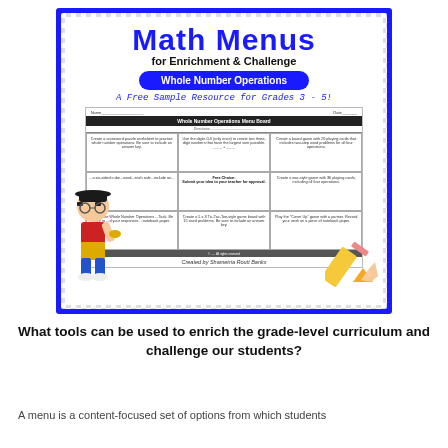[Figure (illustration): Cover image for 'Math Menus for Enrichment & Challenge - Whole Number Operations' educational resource for Grades 3-5, showing a cartoon boy, a worksheet preview with a 3x3 grid of activity tasks, and a pencil. Blue border with checkered background pattern.]
What tools can be used to enrich the grade-level curriculum and challenge our students?
A menu is a content-focused set of options from which students